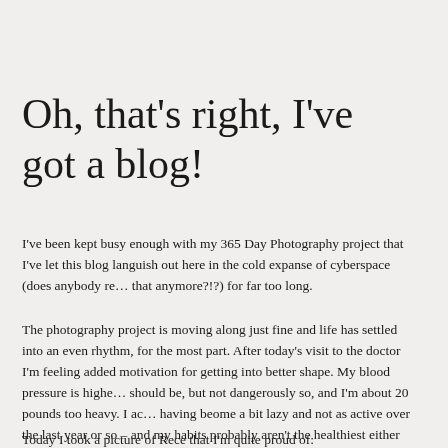Oh, that's right, I've got a blog!
I've been kept busy enough with my 365 Day Photography project that I've let this blog languish out here in the cold expanse of cyberspace (does anybody read that anymore?!?) for far too long.
The photography project is moving along just fine and life has settled into an even rhythm, for the most part. After today's visit to the doctor I'm feeling added motivation for getting into better shape. My blood pressure is higher than it should be, but not dangerously so, and I'm about 20 pounds too heavy. I admit to having beome a bit lazy and not as active over the last year or so – and my eating habits probably aren't the healthiest either (but oh, so tasty!). So that's something that's gotta take a higher priority for me than it has been lately.
Today I took a picture of Rece that I'm quite proud of: